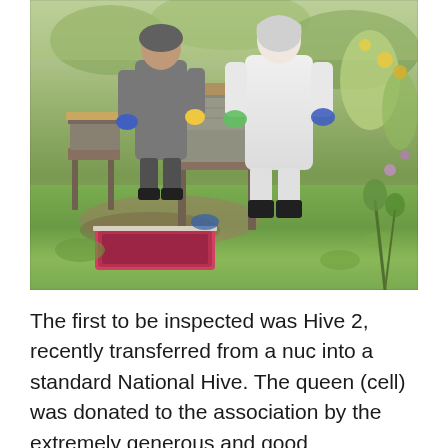[Figure (photo): Two beekeepers in protective gear (one in a white suit, one in darker clothing) inspecting beehives outdoors on a grassy area. There are wooden beehive boxes on stands, and a pink/red tray on the ground in front.]
The first to be inspected was Hive 2, recently transferred from a nuc into a standard National Hive. The queen (cell) was donated to the association by the extremely generous and good